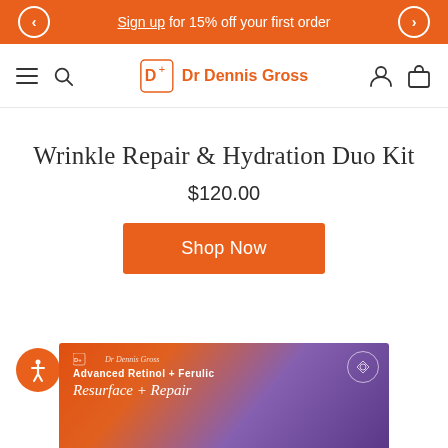Sign up for 15% off your first order
[Figure (logo): Dr Dennis Gross logo with orange D+ icon and brand name in orange]
Wrinkle Repair & Hydration Duo Kit
$120.00
Shop Now
[Figure (photo): Dr Dennis Gross Advanced Retinol + Ferulic Resurface + Repair product box in orange and purple gradient, partially visible at bottom of page]